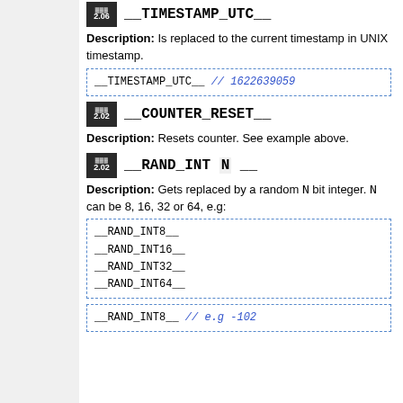__TIMESTAMP_UTC__
Description: Is replaced to the current timestamp in UNIX timestamp.
[Figure (other): Code box showing: __TIMESTAMP_UTC__  // 1622639059]
__COUNTER_RESET__
Description: Resets counter. See example above.
__RAND_INT N __
Description: Gets replaced by a random N bit integer. N can be 8, 16, 32 or 64, e.g:
[Figure (other): Code box showing: __RAND_INT8__  __RAND_INT16__  __RAND_INT32__  __RAND_INT64__]
[Figure (other): Code box showing: __RAND_INT8__  // e.g -102]